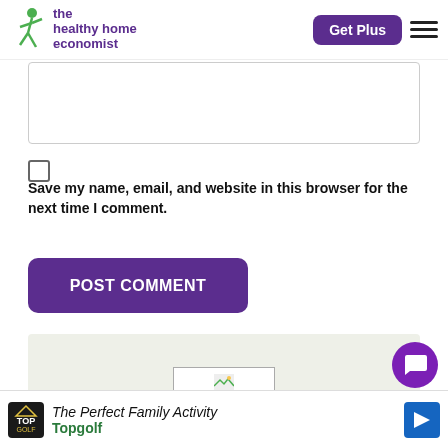the healthy home economist | Get Plus
[Figure (screenshot): Text area input box (empty)]
[Figure (screenshot): Checkbox (unchecked)]
Save my name, email, and website in this browser for the next time I comment.
[Figure (screenshot): POST COMMENT button (purple)]
[Figure (screenshot): Advertisement section with placeholder image in light green area]
[Figure (screenshot): Bottom advertisement banner: The Perfect Family Activity - Topgolf]
[Figure (screenshot): Purple chat/support bubble icon in lower right]